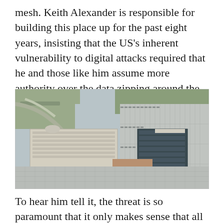mesh. Keith Alexander is responsible for building this place up for the past eight years, insisting that the US's inherent vulnerability to digital attacks required that he and those like him assume more authority over the data zipping around the globe.
[Figure (photo): Aerial photograph of a large government facility complex with multiple buildings, large parking lots filled with cars, and surrounding roads and wooded areas. Likely the NSA headquarters at Fort Meade, Maryland.]
To hear him tell it, the threat is so paramount that it only makes sense that all power to control the